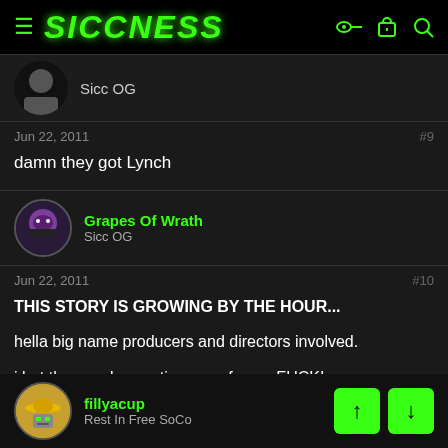SICCNESS
Sicc OG
Jun 22, 2011   #9
damn they got Lynch
Grapes Of Wrath
Sicc OG
Jun 22, 2011   #10
THIS STORY IS GROWING BY THE HOUR...

hella big name producers and directors involved.

i bet these poker parties were fun as FUCK!
fillyacup
Rest In Free SoCo